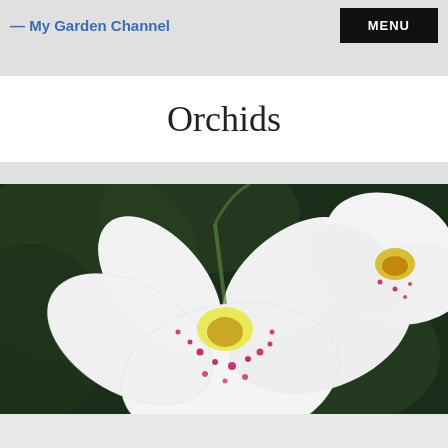— My Garden Channel  MENU
Orchids
[Figure (photo): Close-up photograph of white Phalaenopsis orchids with magenta/pink speckled dots on petals and yellow-orange centers, against a dark green blurred background]